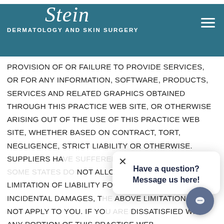Stein DERMATOLOGY AND SKIN SURGERY
PROVISION OF OR FAILURE TO PROVIDE SERVICES, OR FOR ANY INFORMATION, SOFTWARE, PRODUCTS, SERVICES AND RELATED GRAPHICS OBTAINED THROUGH THIS PRACTICE WEB SITE, OR OTHERWISE ARISING OUT OF THE USE OF THIS PRACTICE WEB SITE, WHETHER BASED ON CONTRACT, TORT, NEGLIGENCE, STRICT LIABILITY OR OTHERWISE. SUPPLIERS HAVE DAMAGES. B NOT ALLOW THE EXCLUSION OR LIMITATION OF LIABILITY FOR CONSEQUENTIAL OR INCIDENTAL DAMAGES, THE ABOVE LIMITATION MAY NOT APPLY TO YOU. IF YOU DISSATISFIED WITH ANY PORTION OF THIS PRACTICE WEB
[Figure (screenshot): Chat popup overlay with close button (×) and message 'Have a question? Message us here!']
[Figure (screenshot): Chat button (dark blue circle with speech bubble icon) in bottom-right corner]